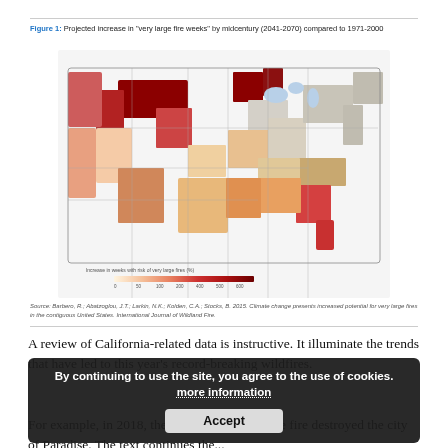Figure 1: Projected increase in "very large fire weeks" by midcentury (2041-2070) compared to 1971-2000
[Figure (map): Choropleth map of the contiguous United States showing projected increase in weeks with risk of very large fires by midcentury (2041-2070) compared to 1971-2000. Western states like Montana, Idaho, and the Pacific Northwest show the largest increases (dark red/maroon), with much of the West shown in oranges and reds. The Southeast also shows some increases. A color scale legend runs from light cream to dark red representing increases from 0 to 600+ weeks.]
Source: Barbero, R.; Abatzoglou, J.T.; Larkin, N.K.; Kolden, C.A.; Stocks, B. 2015. Climate change presents increased potential for very large fires in the contiguous United States. International Journal of Wildland Fire.
A review of California-related data is instructive. It illuminate the trends that have led to this year's record-breaking wildfires.
For example, in 2018, the devastating Campfire fire destroyed the city of Paradise. The text continues the...